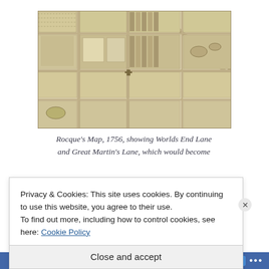[Figure (map): Rocque's Map, 1756, a historical map showing Worlds End Lane and Great Martin's Lane in London. The map is drawn in sepia/brown tones and shows streets, buildings, and garden plots in an aerial/plan view.]
Rocque's Map, 1756, showing Worlds End Lane and Great Martin's Lane, which would become
Privacy & Cookies: This site uses cookies. By continuing to use this website, you agree to their use.
To find out more, including how to control cookies, see here: Cookie Policy
Close and accept